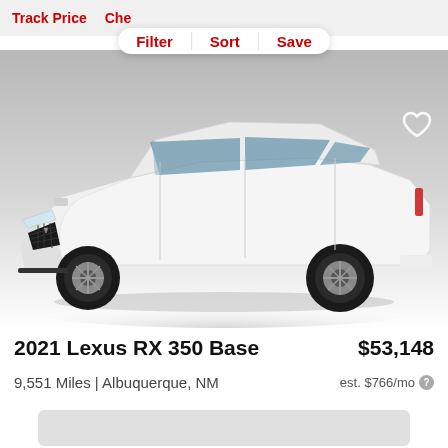Track Price  Che...
Filter  Sort  Save
[Figure (photo): White 2021 Lexus RX 350 SUV photographed from the front-left angle on a grey gradient background]
2021 Lexus RX 350 Base
$53,148
9,551 Miles | Albuquerque, NM
est. $766/mo